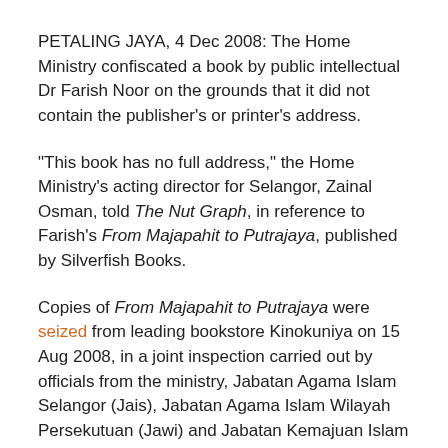PETALING JAYA, 4 Dec 2008: The Home Ministry confiscated a book by public intellectual Dr Farish Noor on the grounds that it did not contain the publisher's or printer's address.
"This book has no full address," the Home Ministry's acting director for Selangor, Zainal Osman, told The Nut Graph, in reference to Farish's From Majapahit to Putrajaya, published by Silverfish Books.
Copies of From Majapahit to Putrajaya were seized from leading bookstore Kinokuniya on 15 Aug 2008, in a joint inspection carried out by officials from the ministry, Jabatan Agama Islam Selangor (Jais), Jabatan Agama Islam Wilayah Persekutuan (Jawi) and Jabatan Kemajuan Islam Malaysia (Jakim). Kinokuniya has since